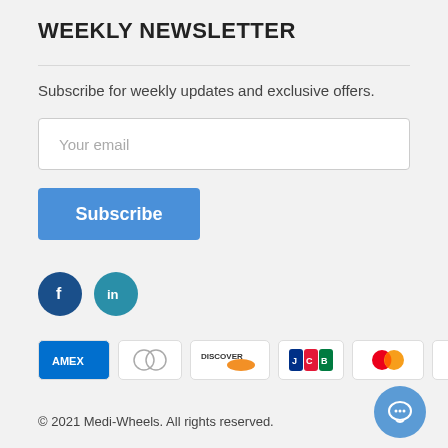WEEKLY NEWSLETTER
Subscribe for weekly updates and exclusive offers.
Your email
Subscribe
[Figure (illustration): Facebook and LinkedIn social media icons as dark blue circles with white logos]
[Figure (illustration): Payment method icons: AMEX, Diners Club, Discover, JCB, Mastercard, VISA]
© 2021 Medi-Wheels. All rights reserved.